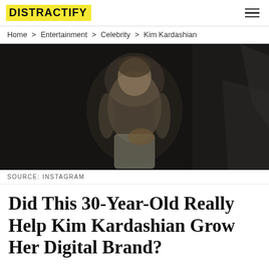DISTRACTIFY
Home > Entertainment > Celebrity > Kim Kardashian
[Figure (photo): Blurred/defocused photo of a person standing in a dark studio setting, holding something, wearing a patterned top and light-colored pants]
SOURCE: INSTAGRAM
Did This 30-Year-Old Really Help Kim Kardashian Grow Her Digital Brand?